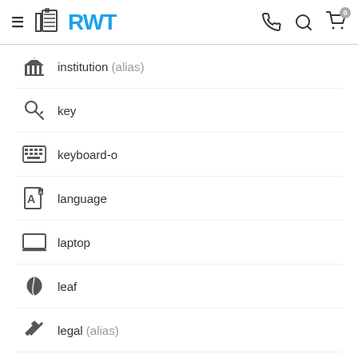RWT website header with logo, phone, search, and cart icons
institution (alias)
key
keyboard-o
language
laptop
leaf
legal (alias)
lemon-o
level-down
level-up
life-bouy (alias)
life-buoy (alias)